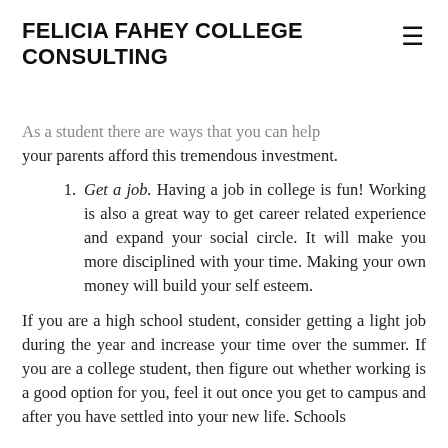FELICIA FAHEY COLLEGE CONSULTING
As a student there are ways that you can help your parents afford this tremendous investment.
Get a job. Having a job in college is fun! Working is also a great way to get career related experience and expand your social circle. It will make you more disciplined with your time. Making your own money will build your self esteem.
If you are a high school student, consider getting a light job during the year and increase your time over the summer. If you are a college student, then figure out whether working is a good option for you, feel it out once you get to campus and after you have settled into your new life. Schools